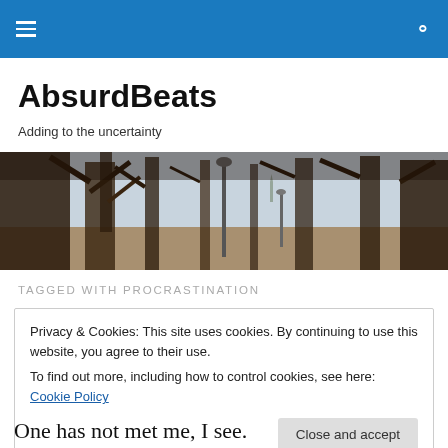AbsurdBeats navigation bar with hamburger menu and search icon
AbsurdBeats
Adding to the uncertainty
[Figure (photo): Outdoor park scene with bare trees in winter, a lamppost, and the Statue of Liberty visible in the background]
TAGGED WITH PROCRASTINATION
Privacy & Cookies: This site uses cookies. By continuing to use this website, you agree to their use. To find out more, including how to control cookies, see here: Cookie Policy
Close and accept
One has not met me, I see.